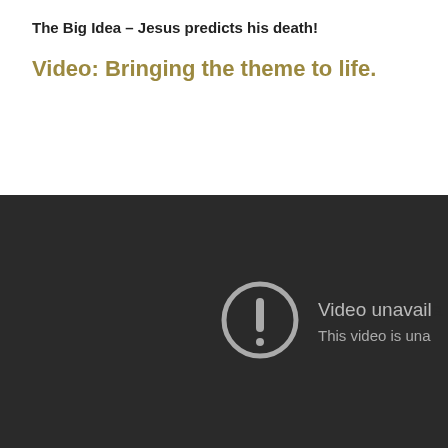The Big Idea – Jesus predicts his death!
Video: Bringing the theme to life.
[Figure (screenshot): An embedded video player showing a dark background with a circular exclamation mark icon and the text 'Video unavailable' and 'This video is una...' (truncated), indicating the video is unavailable.]